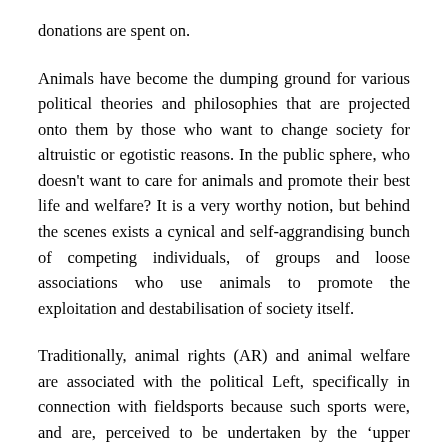donations are spent on.
Animals have become the dumping ground for various political theories and philosophies that are projected onto them by those who want to change society for altruistic or egotistic reasons. In the public sphere, who doesn't want to care for animals and promote their best life and welfare? It is a very worthy notion, but behind the scenes exists a cynical and self-aggrandising bunch of competing individuals, of groups and loose associations who use animals to promote the exploitation and destabilisation of society itself.
Traditionally, animal rights (AR) and animal welfare are associated with the political Left, specifically in connection with fieldsports because such sports were, and are, perceived to be undertaken by the 'upper classes', while direct action against hunting particularly